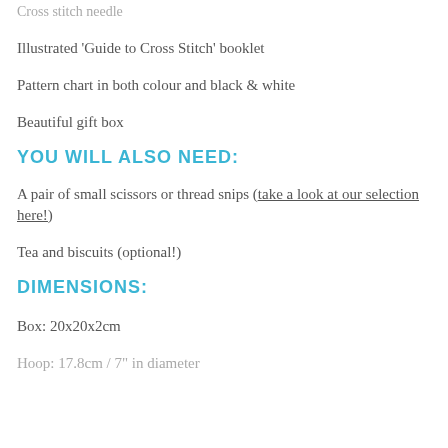Cross stitch needle
Illustrated 'Guide to Cross Stitch' booklet
Pattern chart in both colour and black & white
Beautiful gift box
YOU WILL ALSO NEED:
A pair of small scissors or thread snips (take a look at our selection here!)
Tea and biscuits (optional!)
DIMENSIONS:
Box: 20x20x2cm
Hoop: 17.8cm / 7" in diameter